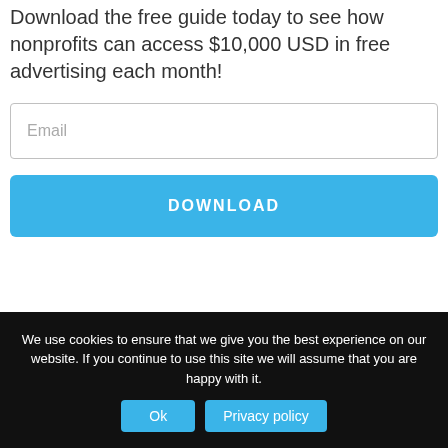Download the free guide today to see how nonprofits can access $10,000 USD in free advertising each month!
Email
DOWNLOAD
We use cookies to ensure that we give you the best experience on our website. If you continue to use this site we will assume that you are happy with it.
Ok
Privacy policy